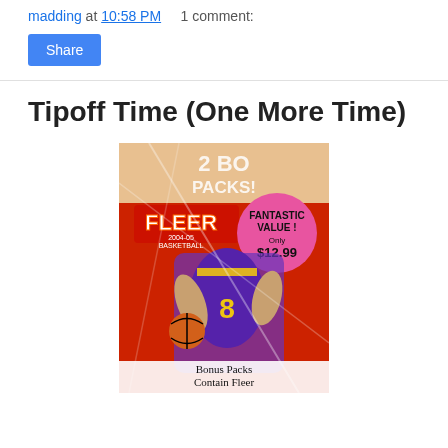madding at 10:58 PM    1 comment:
Share
Tipoff Time (One More Time)
[Figure (photo): A Fleer 2004-05 Basketball card box showing a Lakers player dribbling, with a pink circular sticker reading 'FANTASTIC VALUE! Only $12.99' and text '2 BONUS PACKS!' at top. Bottom text reads 'Bonus Packs Contain Fleer Shiny Parallels!']